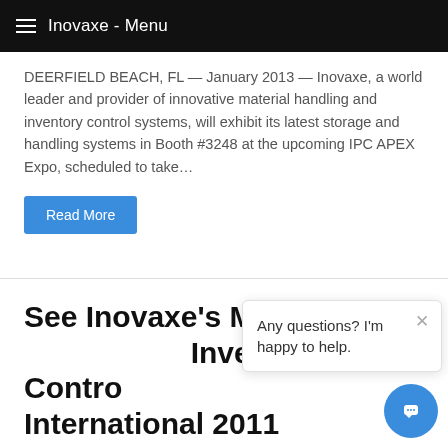≡  Inovaxe - Menu
DEERFIELD BEACH, FL — January 2013 — Inovaxe, a world leader and provider of innovative material handling and inventory control systems, will exhibit its latest storage and handling systems in Booth #3248 at the upcoming IPC APEX Expo, scheduled to take…
Read More
See Inovaxe's Material Handling & Inventory Control at Productronica International 2011
August 25, 2011   Margy Khoshnood   News
DEERFIELD BEACH, FL — August 2011 — Inovaxe, a world leader and provider of innovative material handling and inventory control
Any questions? I'm happy to help.